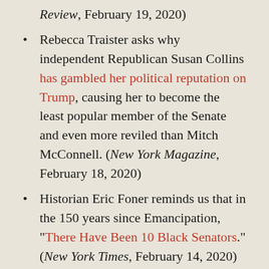Review, February 19, 2020)
Rebecca Traister asks why independent Republican Susan Collins has gambled her political reputation on Trump, causing her to become the least popular member of the Senate and even more reviled than Mitch McConnell. (New York Magazine, February 18, 2020)
Historian Eric Foner reminds us that in the 150 years since Emancipation, “There Have Been 10 Black Senators.” (New York Times, February 14, 2020)
Claire Potter is co-executive editor of Public Seminar and Professor of History at The New